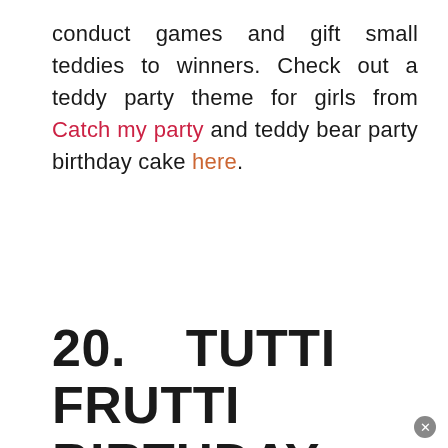conduct games and gift small teddies to winners. Check out a teddy party theme for girls from Catch my party and teddy bear party birthday cake here.
20. TUTTI FRUTTI BIRTHDAY PARTY THEME